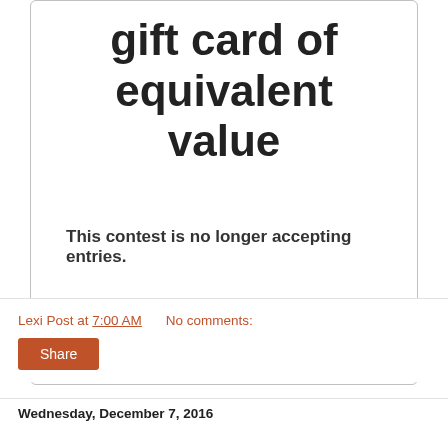gift card of equivalent value
This contest is no longer accepting entries.
powered by Rafflecopter
Lexi Post at 7:00 AM   No comments:
Share
Wednesday, December 7, 2016